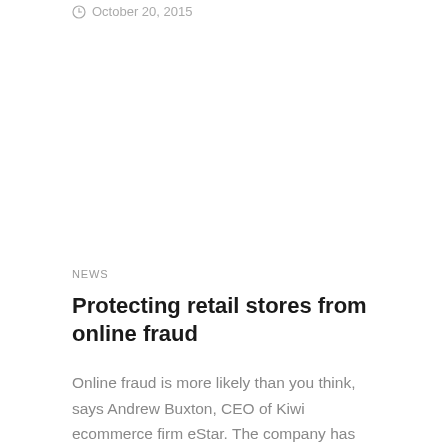October 20, 2015
NEWS
Protecting retail stores from online fraud
Online fraud is more likely than you think, says Andrew Buxton, CEO of Kiwi ecommerce firm eStar. The company has today launched